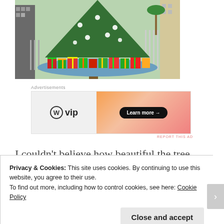[Figure (photo): Large Christmas tree decorated with white ornaments surrounded by colorful red, green, and orange gift boxes at the base, outdoors with buildings and palm trees in background]
Advertisements
[Figure (other): WordPress VIP advertisement banner with orange gradient on right side and Learn more arrow button]
REPORT THIS AD
I couldn't believe how beautiful the tree was. You
Privacy & Cookies: This site uses cookies. By continuing to use this website, you agree to their use.
To find out more, including how to control cookies, see here: Cookie Policy
Close and accept